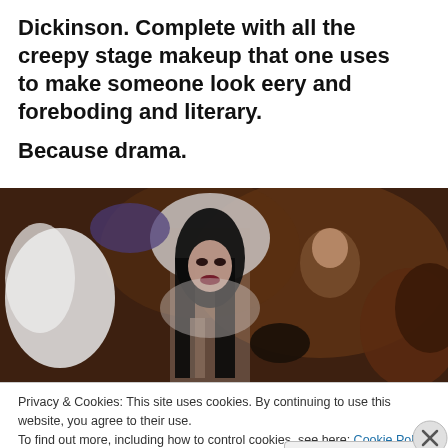Dickinson. Complete with all the creepy stage makeup that one uses to make someone look eery and foreboding and literary.
Because drama.
[Figure (photo): A woman dressed in a Halloween bride/gothic costume with white veil and long dark hair, wearing dramatic dark makeup, standing at what appears to be a Halloween party surrounded by other people in costumes.]
Privacy & Cookies: This site uses cookies. By continuing to use this website, you agree to their use.
To find out more, including how to control cookies, see here: Cookie Policy
Close and accept